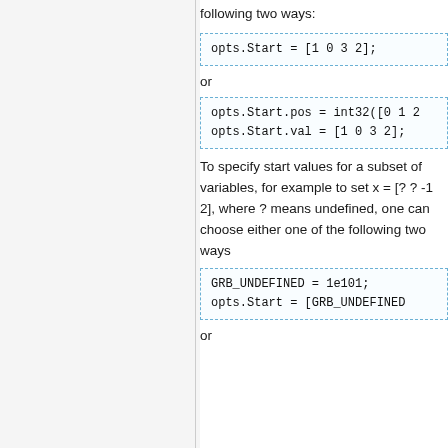following two ways:
opts.Start = [1 0 3 2];
or
opts.Start.pos = int32([0 1 2...]
opts.Start.val = [1 0 3 2];
To specify start values for a subset of variables, for example to set x = [? ? -1 2], where ? means undefined, one can choose either one of the following two ways
GRB_UNDEFINED = 1e101;
opts.Start = [GRB_UNDEFINED...
or